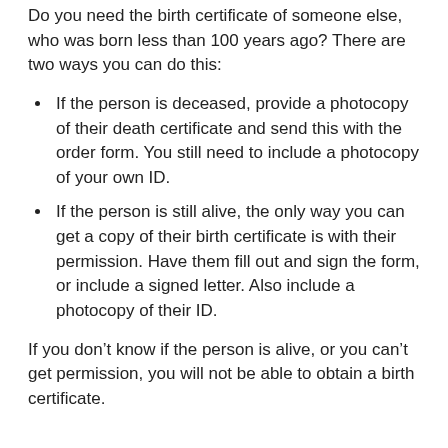Do you need the birth certificate of someone else, who was born less than 100 years ago? There are two ways you can do this:
If the person is deceased, provide a photocopy of their death certificate and send this with the order form. You still need to include a photocopy of your own ID.
If the person is still alive, the only way you can get a copy of their birth certificate is with their permission. Have them fill out and sign the form, or include a signed letter. Also include a photocopy of their ID.
If you don’t know if the person is alive, or you can’t get permission, you will not be able to obtain a birth certificate.